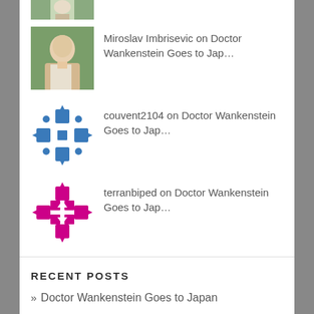[Figure (photo): Partial photo of a person at the top, cropped]
Miroslav Imbrisevic on Doctor Wankenstein Goes to Jap…
couvent2104 on Doctor Wankenstein Goes to Jap…
terranbiped on Doctor Wankenstein Goes to Jap…
RECENT POSTS
» Doctor Wankenstein Goes to Japan
» Sharing
» Truth Rediscovered: A Humanistic View of Rationality
» Some Thoughts on Spoilers
» Remarks on Religion